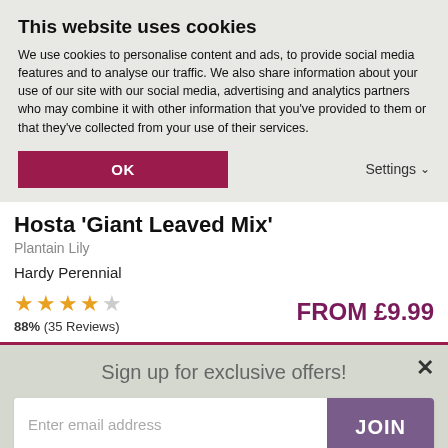This website uses cookies
We use cookies to personalise content and ads, to provide social media features and to analyse our traffic. We also share information about your use of our site with our social media, advertising and analytics partners who may combine it with other information that you've provided to them or that they've collected from your use of their services.
OK | Settings
Hosta 'Giant Leaved Mix'
Plantain Lily
Hardy Perennial
88% (35 Reviews)
FROM £9.99
Sign up for exclusive offers!
Enter email address
JOIN